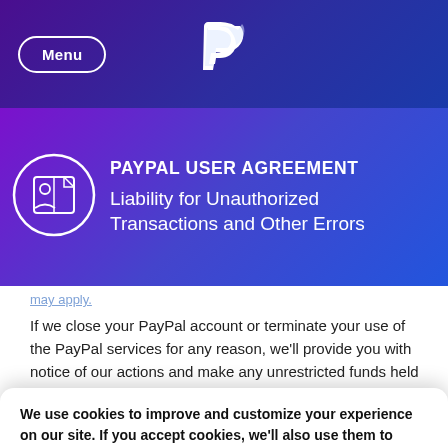Menu | PayPal
PAYPAL USER AGREEMENT
Liability for Unauthorized Transactions and Other Errors
If we close your PayPal account or terminate your use of the PayPal services for any reason, we'll provide you with notice of our actions and make any unrestricted funds held in the
We use cookies to improve and customize your experience on our site. If you accept cookies, we'll also use them to show you personalized PayPal ads when you visit other sites. Manage cookies and learn more